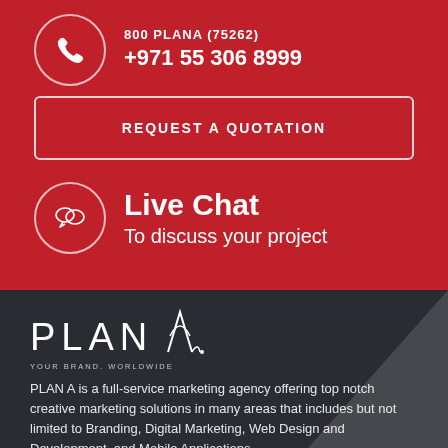800 PLANA (75262)
+971 55 306 8999
REQUEST A QUOTATION
Live Chat
To discuss your project
[Figure (logo): PLAN A logo with tagline YOUR BRAND. WORLDWIDE on dark background]
PLAN A is a full-service marketing agency offering top notch creative marketing solutions in many areas that includes but not limited to Branding, Digital Marketing, Web Design and Development, and Mobile Applications.